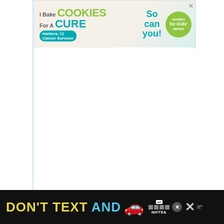[Figure (photo): Banner advertisement: 'I Bake COOKIES For A CURE' with child photo and Cookies for Kids' Cancer logo]
8
[Figure (infographic): What's Next section showing Lemon Cream Pie thumbnail with arrow]
NOTES
[Figure (photo): Bottom banner advertisement: DON'T TEXT AND [drive] with car graphic and NHTSA logo]